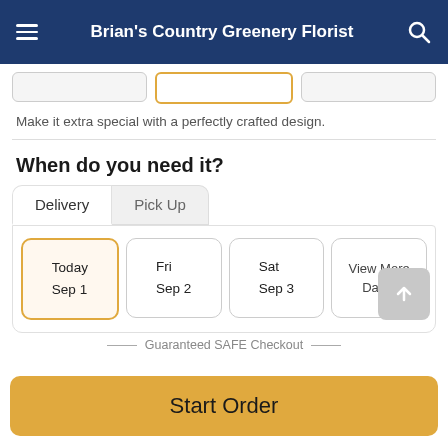Brian's Country Greenery Florist
Make it extra special with a perfectly crafted design.
When do you need it?
Delivery | Pick Up
Today Sep 1 | Fri Sep 2 | Sat Sep 3 | View More Dates
Guaranteed SAFE Checkout
Start Order